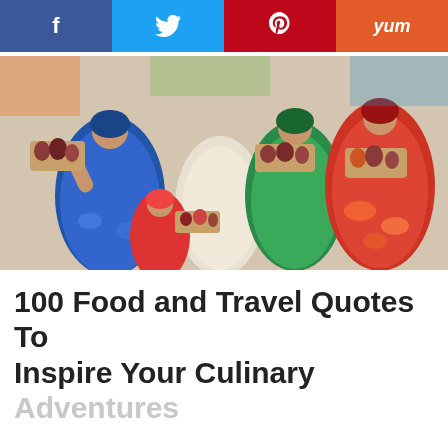[Figure (other): Social media share bar with Facebook (blue), Twitter (light blue), Pinterest (dark red), and Yummly (orange) buttons]
[Figure (photo): Colorful figurines of women in traditional bright clothing holding trays of food items (beans, seeds) in a market setting]
100 Food and Travel Quotes To Inspire Your Culinary Adventures